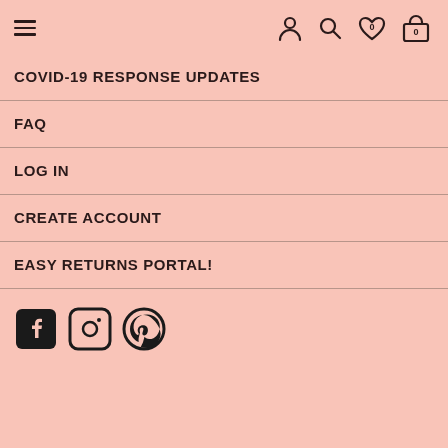Navigation header with hamburger menu and icons
COVID-19 Response Updates
FAQ
LOG IN
CREATE ACCOUNT
EASY RETURNS PORTAL!
[Figure (other): Social media icons: Facebook, Instagram, Pinterest]